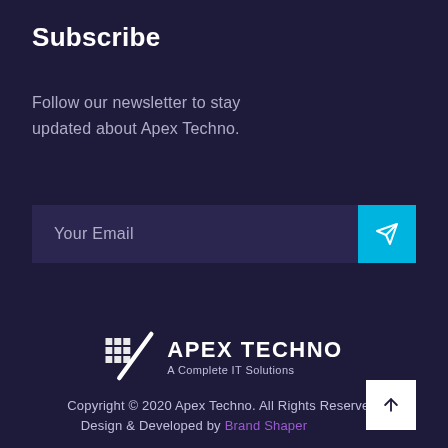Subscribe
Follow our newsletter to stay updated about Apex Techno.
[Figure (other): Email input bar with placeholder text 'Your Email' and a cyan send button with a paper plane icon]
[Figure (logo): Apex Techno logo with geometric grid-slash icon and text 'APEX TECHNO / A Complete IT Solutions']
Copyright © 2020 Apex Techno. All Rights Reserved.
Design & Developed by Brand Shaper